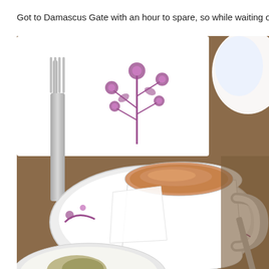Got to Damascus Gate with an hour to spare, so while waiting on lam...
[Figure (photo): Close-up photo of a white espresso coffee cup on a white saucer with a decorative purple floral pattern, sitting on a white place mat also with purple floral design. A silver fork is visible on the left, and a spoon handle is visible on the right. A second dish is partially visible at the bottom. The background shows a wooden table surface and bright light in the upper right.]